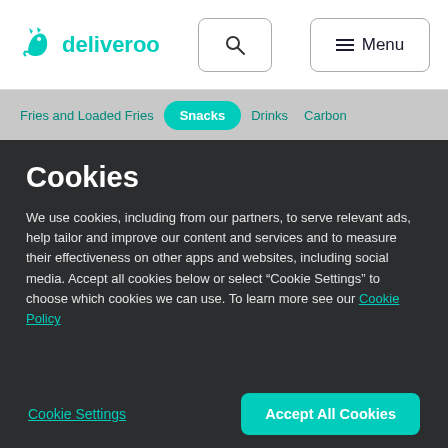[Figure (logo): Deliveroo logo with kangaroo/roo icon and wordmark in teal, search icon box, and Menu button in top navigation bar]
Fries and Loaded Fries   Snacks   Drinks   Carbon
Cookies
We use cookies, including from our partners, to serve relevant ads, help tailor and improve our content and services and to measure their effectiveness on other apps and websites, including social media. Accept all cookies below or select “Cookie Settings” to choose which cookies we can use. To learn more see our Cookie Policy
Cookie Settings
Accept All Cookies